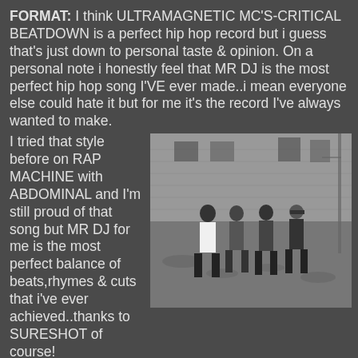FORMAT: I think ULTRAMAGNETIC MC'S-CRITICAL BEATDOWN is a perfect hip hop record but i guess that's just down to personal taste & opinion. On a personal note i honestly feel that MR DJ is the most perfect hip hop song I'VE ever made..i mean everyone else could hate it but for me it's the record I've always wanted to make.
I tried that style before on RAP MACHINE with ABDOMINAL and I'm still proud of that song but MR DJ for me is the most perfect balance of beats,rhymes & cuts that i've ever achieved..thanks to SURESHOT of course!
[Figure (photo): Black and white photograph of four men standing in a rubble-strewn urban area in front of a brick building.]
SURESHOT LA ROCK: Sureshot and Format! Seriously though, I'm not sure I can describe it... You just know it when